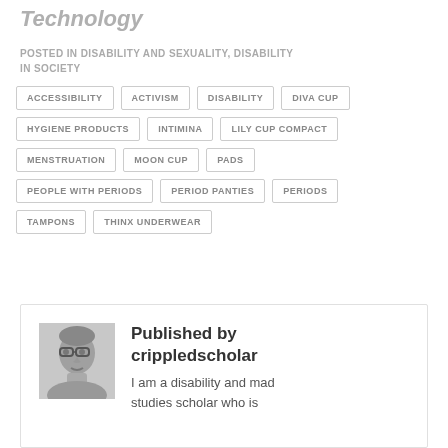Technology
POSTED IN DISABILITY AND SEXUALITY, DISABILITY IN SOCIETY
ACCESSIBILITY
ACTIVISM
DISABILITY
DIVA CUP
HYGIENE PRODUCTS
INTIMINA
LILY CUP COMPACT
MENSTRUATION
MOON CUP
PADS
PEOPLE WITH PERIODS
PERIOD PANTIES
PERIODS
TAMPONS
THINX UNDERWEAR
Published by crippledscholar
I am a disability and mad studies scholar who is